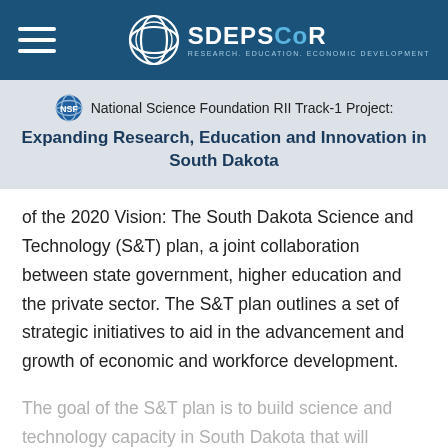SD EPSCoR — Research. Education. Economic Development.
National Science Foundation RII Track-1 Project: Expanding Research, Education and Innovation in South Dakota
of the 2020 Vision: The South Dakota Science and Technology (S&T) plan, a joint collaboration between state government, higher education and the private sector. The S&T plan outlines a set of strategic initiatives to aid in the advancement and growth of economic and workforce development.
The goal of the S&T plan is to build science and technology capacity in South Dakota that will promote innovation, foster knowledge-based companies, create